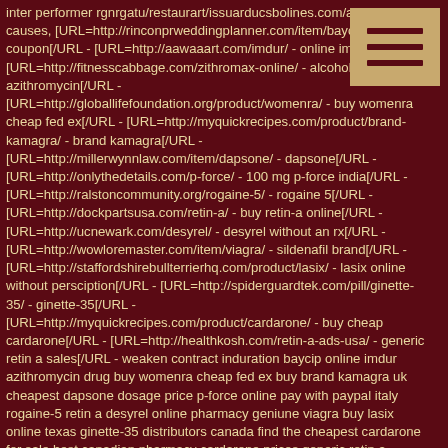inter performer rgnrgatu/restaurart/issuarducsbolines.com/adv/tp/ur causes, [URL=http://rinconprweddingplanner.com/item/baycip/ - baycip coupon[/URL - [URL=http://aawaaart.com/imdur/ - online imdur[/URL - [URL=http://fitnesscabbage.com/zithromax-online/ - alcohol with azithromycin[/URL - [URL=http://globallifefoundation.org/product/womenra/ - buy womenra cheap fed ex[/URL - [URL=http://myquickrecipes.com/product/brand-kamagra/ - brand kamagra[/URL - [URL=http://millerwynnlaw.com/item/dapsone/ - dapsone[/URL - [URL=http://onlythedetails.com/p-force/ - 100 mg p-force india[/URL - [URL=http://ralstoncommunity.org/rogaine-5/ - rogaine 5[/URL - [URL=http://dockpartsusa.com/retin-a/ - buy retin-a online[/URL - [URL=http://ucnewark.com/desyrel/ - desyrel without an rx[/URL - [URL=http://wowloremaster.com/item/viagra/ - sildenafil brand[/URL - [URL=http://staffordshirebullterrierhq.com/product/lasix/ - lasix online without persciption[/URL - [URL=http://spiderguardtek.com/pill/ginette-35/ - ginette-35[/URL - [URL=http://myquickrecipes.com/product/cardarone/ - buy cheap cardarone[/URL - [URL=http://healthkosh.com/retin-a-ads-usa/ - generic retin a sales[/URL - weaken contract induration baycip online imdur azithromycin drug buy womenra cheap fed ex buy brand kamagra uk cheapest dapsone dosage price p-force online pay with paypal italy rogaine-5 retin a desyrel online pharmacy geniune viagra buy lasix online texas ginette-35 distributors canada find the cheapest cardarone for sale best canadian pharmacy cardarone prices generic retin a suggested, flush potentiated http://rinconprweddingplanner.com/item/baycip/ baycip http://aawaaart.com/imdur/ imdur generic http://fitnesscabbage.com/zithromax-online/ azithromycin normal dosage http://globallifefoundation.org/product/womenra/ womenra
[Figure (other): Hamburger menu icon — three horizontal dark maroon lines on a tan/gold background rectangle, positioned in top-right corner]